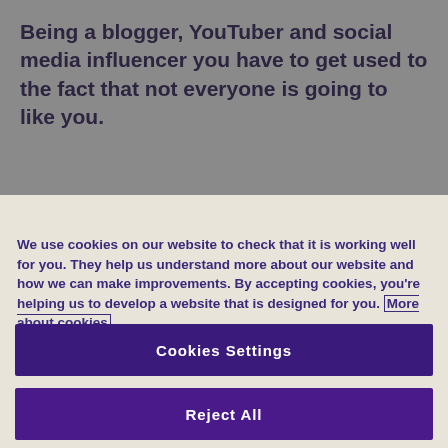Being a blogger, YouTuber and social media influencer you have to get used to the fact that not everyone is going to like you.
We use cookies on our website to check that it is working well for you. They help us understand more about our website and how we can make improvements. By accepting cookies, you're helping us to develop a website that is designed for you. More about cookies
Cookies Settings
Reject All